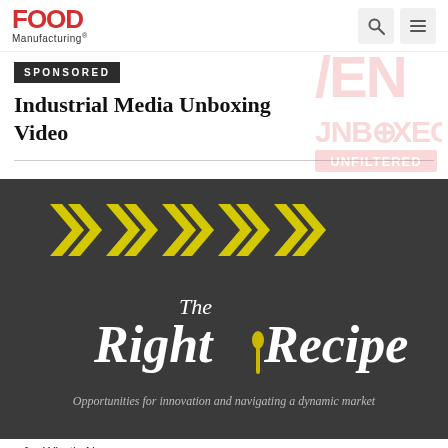[Figure (logo): Food Manufacturing logo with red bold FOOD text and Manufacturing subtitle]
SPONSORED
Industrial Media Unboxing Video
[Figure (logo): IEN JNBOXED logo watermark in light pink/red]
[Figure (illustration): Dark background section with yellow chevron arrows pointing right and The Right Recipe script logo with tagline: Opportunities for innovation and navigating a dynamic market]
y for What's Ne